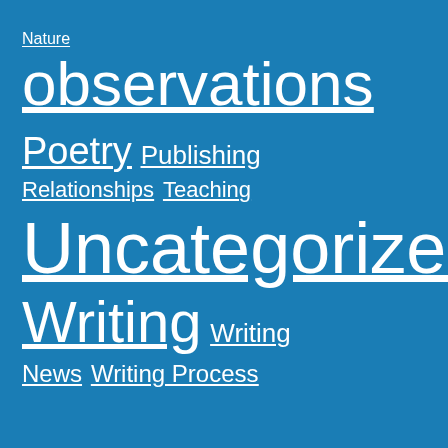Nature observations
Poetry Publishing
Relationships Teaching
Uncategorized
Writing Writing News
News Writing Process